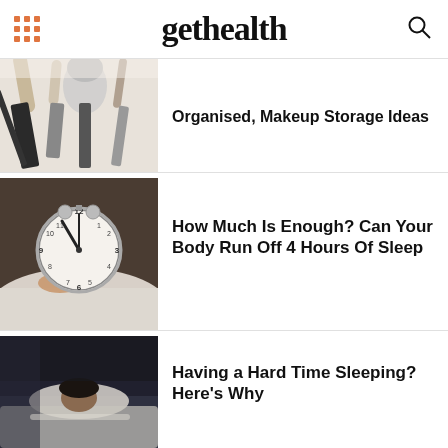gethealth
Organised, Makeup Storage Ideas
[Figure (photo): Makeup brushes laid flat on white background, variety of brush sizes including powder and mascara brushes]
[Figure (photo): Person in bed holding a white alarm clock showing approximately 11:55, blurred bedroom background]
How Much Is Enough? Can Your Body Run Off 4 Hours Of Sleep
[Figure (photo): Person lying in bed in dark room, sleeping, viewed from above]
Having a Hard Time Sleeping? Here's Why